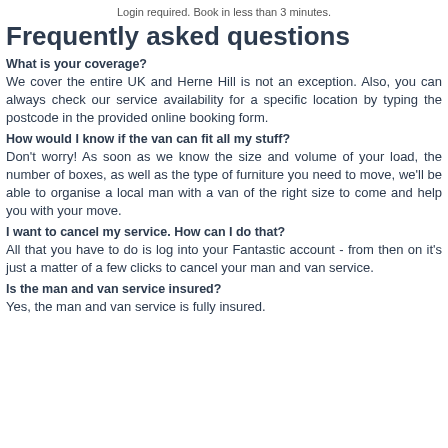Login required. Book in less than 3 minutes.
Frequently asked questions
What is your coverage?
We cover the entire UK and Herne Hill is not an exception. Also, you can always check our service availability for a specific location by typing the postcode in the provided online booking form.
How would I know if the van can fit all my stuff?
Don't worry! As soon as we know the size and volume of your load, the number of boxes, as well as the type of furniture you need to move, we'll be able to organise a local man with a van of the right size to come and help you with your move.
I want to cancel my service. How can I do that?
All that you have to do is log into your Fantastic account - from then on it's just a matter of a few clicks to cancel your man and van service.
Is the man and van service insured?
Yes, the man and van service is fully insured.